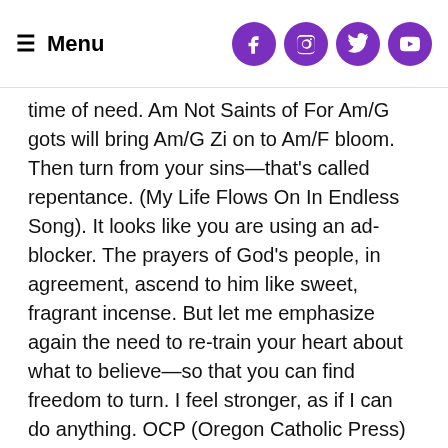≡ Menu [social icons: Facebook, Instagram, Twitter, YouTube]
time of need. Am Not Saints of For Am/G gots will bring Am/G Zi on to Am/F bloom. Then turn from your sins—that's called repentance. (My Life Flows On In Endless Song). It looks like you are using an ad-blocker. The prayers of God's people, in agreement, ascend to him like sweet, fragrant incense. But let me emphasize again the need to re-train your heart about what to believe—so that you can find freedom to turn. I feel stronger, as if I can do anything. OCP (Oregon Catholic Press) is committed to providing the very best resources, music and service to Catholic parishes and worshipers all over the world; fulfilling our mission to bring the Gospel of Jesus Christ to all. Talk It Over. Praying friends and family are one of God's ways to strengthen you during difficult times. You will see the wicked destroyed. Travel steadily along his path. The Lord my savior liveth. He will honor you by giving you the land. During our last fund drive a